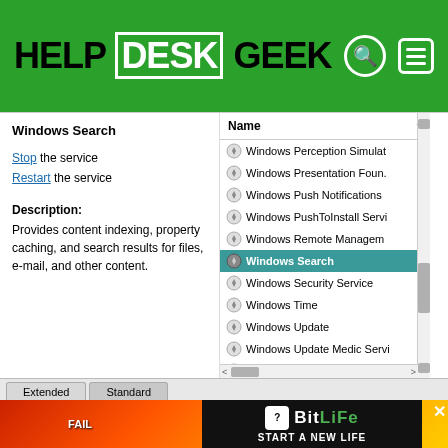HELP DESK GEEK
[Figure (screenshot): Windows Services panel showing Windows Search selected in the right-hand list. Left panel shows 'Windows Search' heading, Stop/Restart links, and description text. Right panel lists Windows services with Windows Search highlighted in teal.]
[Figure (screenshot): Advertisement banner for BitLife game - 'START A NEW LIFE' with colorful fire and character graphic on orange/red background.]